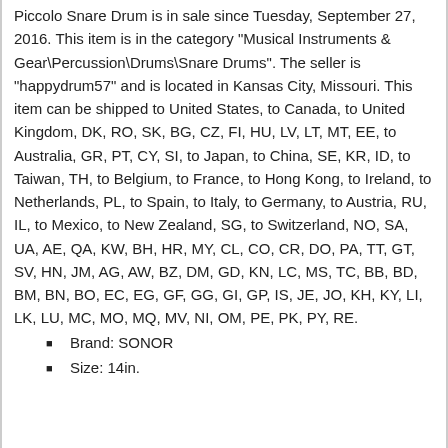Piccolo Snare Drum is in sale since Tuesday, September 27, 2016. This item is in the category "Musical Instruments & Gear\Percussion\Drums\Snare Drums". The seller is "happydrum57" and is located in Kansas City, Missouri. This item can be shipped to United States, to Canada, to United Kingdom, DK, RO, SK, BG, CZ, FI, HU, LV, LT, MT, EE, to Australia, GR, PT, CY, SI, to Japan, to China, SE, KR, ID, to Taiwan, TH, to Belgium, to France, to Hong Kong, to Ireland, to Netherlands, PL, to Spain, to Italy, to Germany, to Austria, RU, IL, to Mexico, to New Zealand, SG, to Switzerland, NO, SA, UA, AE, QA, KW, BH, HR, MY, CL, CO, CR, DO, PA, TT, GT, SV, HN, JM, AG, AW, BZ, DM, GD, KN, LC, MS, TC, BB, BD, BM, BN, BO, EC, EG, GF, GG, GI, GP, IS, JE, JO, KH, KY, LI, LK, LU, MC, MO, MQ, MV, NI, OM, PE, PK, PY, RE.
Brand: SONOR
Size: 14in.